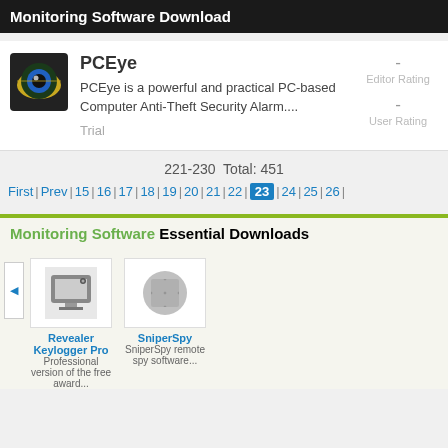Monitoring Software Download
PCEye
PCEye is a powerful and practical PC-based Computer Anti-Theft Security Alarm....
Trial
- Editor Rating
- User Rating
221-230  Total: 451
First | Prev 15 | 16 | 17 | 18 | 19 | 20 | 21 | 22 | 23 | 24 | 25 | 26 |
Monitoring Software Essential Downloads
[Figure (photo): Revealer Keylogger Pro icon]
Revealer Keylogger Pro
Professional version of the free award...
[Figure (logo): SniperSpy logo/icon]
SniperSpy
SniperSpy remote spy software...